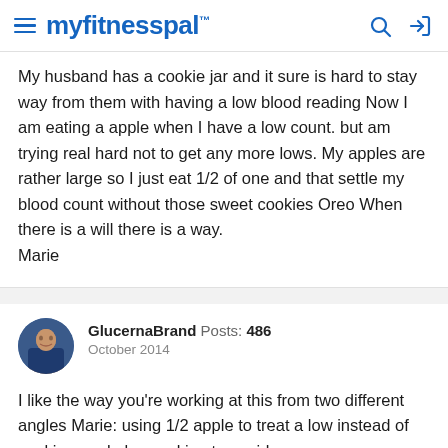myfitnesspal
My husband has a cookie jar and it sure is hard to stay way from them with having a low blood reading Now I am eating a apple when I have a low count. but am trying real hard not to get any more lows. My apples are rather large so I just eat 1/2 of one and that settle my blood count without those sweet cookies Oreo When there is a will there is a way.
Marie
GlucernaBrand  Posts: 486
October 2014
I like the way you're working at this from two different angles Marie: using 1/2 apple to treat a low instead of cookies, and also working to avoid